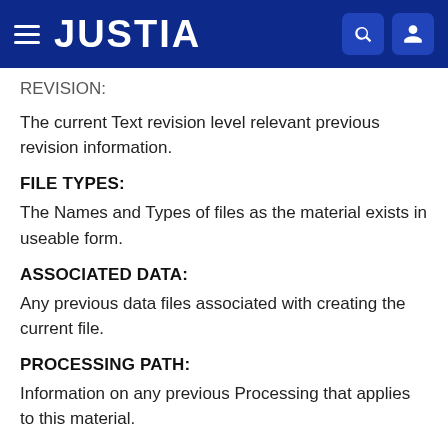JUSTIA
REVISION:
The current Text revision level relevant previous revision information.
FILE TYPES:
The Names and Types of files as the material exists in useable form.
ASSOCIATED DATA:
Any previous data files associated with creating the current file.
PROCESSING PATH:
Information on any previous Processing that applies to this material.